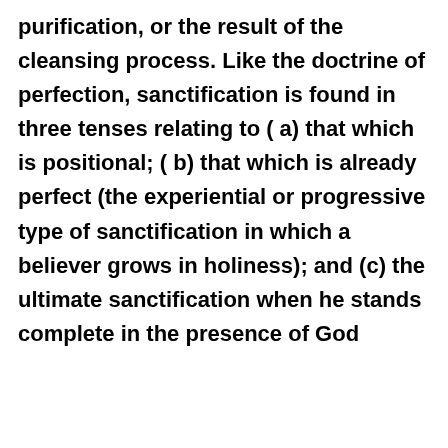purification, or the result of the cleansing process. Like the doctrine of perfection, sanctification is found in three tenses relating to ( a) that which is positional; ( b) that which is already perfect (the experiential or progressive type of sanctification in which a believer grows in holiness); and (c) the ultimate sanctification when he stands complete in the presence of God